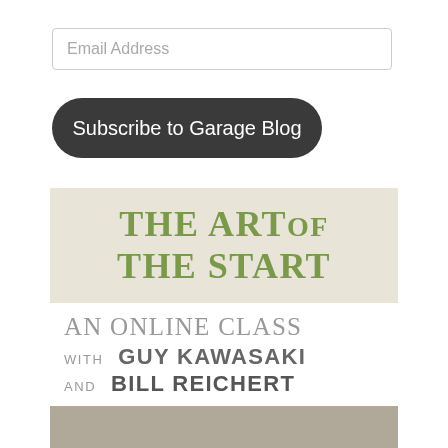Email Address
Subscribe to Garage Blog
[Figure (illustration): Book/course promotional image for 'The Art of the Start: An Online Class with Guy Kawasaki and Bill Reichert'. Top portion has olive/tan background with title in green serif text. Bottom portion has white background with subtitle text in gray. Below that is a photo of two men.]